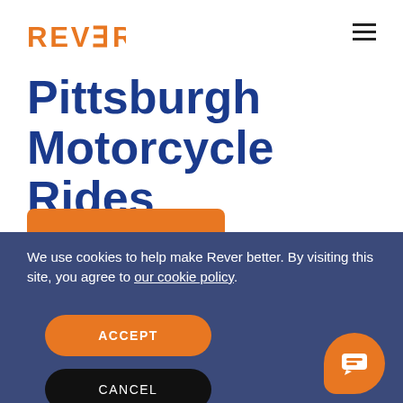REVER
Pittsburgh Motorcycle Rides
We use cookies to help make Rever better. By visiting this site, you agree to our cookie policy.
ACCEPT
CANCEL